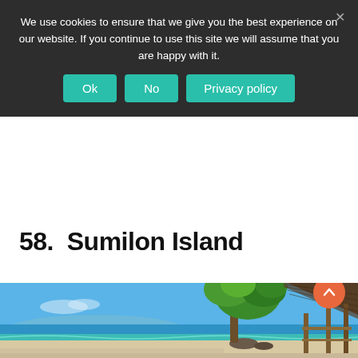We use cookies to ensure that we give you the best experience on our website. If you continue to use this site we will assume that you are happy with it.
Ok | No | Privacy policy
58.  Sumilon Island
[Figure (photo): Tropical beach scene at Sumilon Island showing turquoise sea water, white sandy beach, a large green tree, and a traditional nipa hut structure on the right side. Clear blue sky with few clouds visible.]